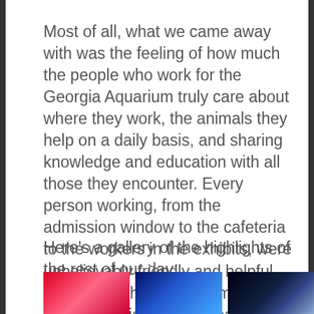Most of all, what we came away with was the feeling of how much the people who work for the Georgia Aquarium truly care about where they work, the animals they help on a daily basis, and sharing knowledge and education with all those they encounter. Every person working, from the admission window to the cafeteria to the workers in the exhibits, were unbelievably friendly and helpful. I'm so very thankful that my family got to experience this great place and I cannot wait to return some day.
Here's a gallery of the highlights of the rest of our day:
[Figure (photo): Three partially visible aquarium photos side by side at the bottom of the page: a red-toned image on the left, a blue-toned image in the center, and a dark blue image on the right.]